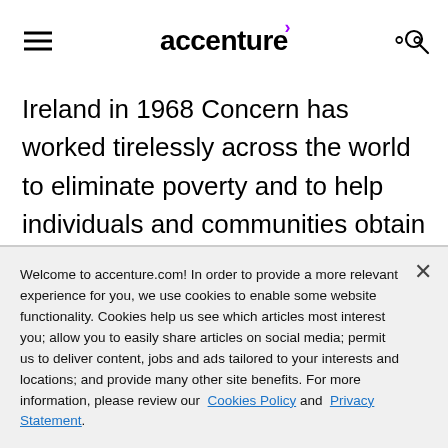accenture
Ireland in 1968 Concern has worked tirelessly across the world to eliminate poverty and to help individuals and communities obtain the resources necessary to assert their human right to food, shelter, heath and education.
Welcome to accenture.com! In order to provide a more relevant experience for you, we use cookies to enable some website functionality. Cookies help us see which articles most interest you; allow you to easily share articles on social media; permit us to deliver content, jobs and ads tailored to your interests and locations; and provide many other site benefits. For more information, please review our Cookies Policy and Privacy Statement.
Cookie Settings